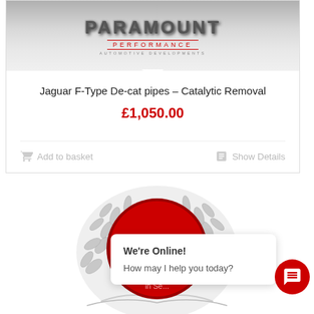[Figure (screenshot): Paramount Performance automotive developments brand logo/header image in grey tones]
Jaguar F-Type De-cat pipes – Catalytic Removal
£1,050.00
Add to basket
Show Details
[Figure (illustration): Circular laurel wreath badge emblem with red circle center showing '30' and text 'in Se...']
We're Online! How may I help you today?